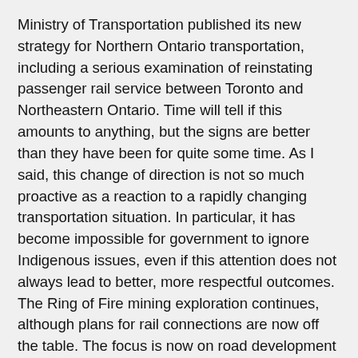Ministry of Transportation published its new strategy for Northern Ontario transportation, including a serious examination of reinstating passenger rail service between Toronto and Northeastern Ontario. Time will tell if this amounts to anything, but the signs are better than they have been for quite some time. As I said, this change of direction is not so much proactive as a reaction to a rapidly changing transportation situation. In particular, it has become impossible for government to ignore Indigenous issues, even if this attention does not always lead to better, more respectful outcomes. The Ring of Fire mining exploration continues, although plans for rail connections are now off the table. The focus is now on road development and establishing better communications infrastructure. The Ford government has also loosened environmental assessment requirements, which has upset many Indigenous communities (see my point above about better, more respectful outcomes).
So, what's the story since 2014? It's one of a leaner Ontario Northland setting off in different directions in Ontario and beyond with, at least for now, better government backing.